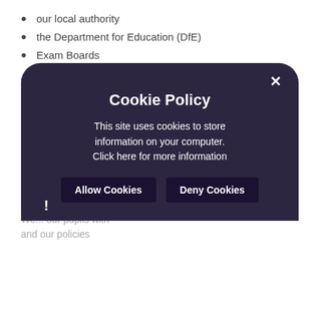our local authority
the Department for Education (DfE)
Exam Boards
We also may need to share information with the following in specific circumstances:
Police
Social workers
Educational Psychologists
Medical/Emergency services
Why we share pupil information
We ... our pupils with ... and our policies
[Figure (screenshot): Cookie Policy modal dialog overlay with dark purple background, showing title 'Cookie Policy', body text 'This site uses cookies to store information on your computer. Click here for more information', and two buttons: 'Allow Cookies' and 'Deny Cookies'. An X close button is at top right and an exclamation mark icon at bottom left.]